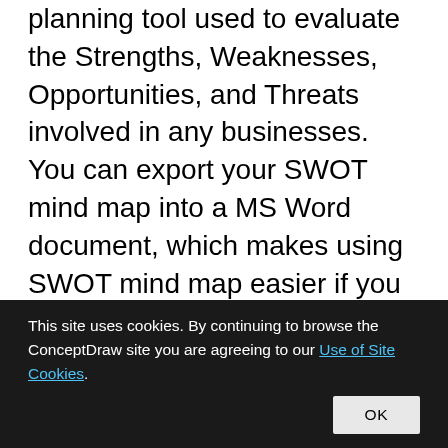planning tool used to evaluate the Strengths, Weaknesses, Opportunities, and Threats involved in any businesses. You can export your SWOT mind map into a MS Word document, which makes using SWOT mind map easier if you need to collaborate it with other people. ConceptDraw products across any platform, meaning you never have to worry about compatibility again. ConceptDraw MINDMAP allows you to make SWOT
This site uses cookies. By continuing to browse the ConceptDraw site you are agreeing to our Use of Site Cookies. OK